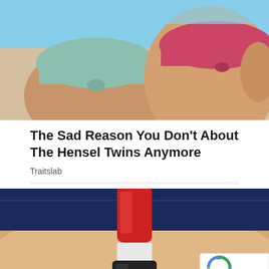[Figure (photo): Two women in bikinis at the beach, one wearing a light blue/teal bandeau bikini top and another wearing a pink/red bandeau bikini top]
The Sad Reason You Don't About The Hensel Twins Anymore
Traitslab
[Figure (photo): Close-up of a laser tattoo removal device (red and white laser pen with black handle) being applied to a tattoo on someone's skin near their waistband/jeans area]
Want To Get Rid Of Your Tattoo? Read This